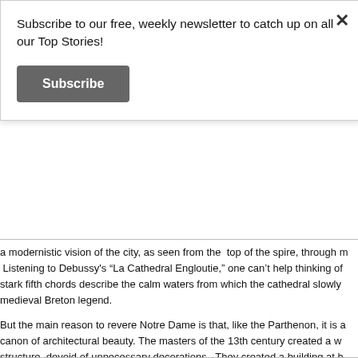Subscribe to our free, weekly newsletter to catch up on all our Top Stories!
Subscribe
a modernistic vision of the city, as seen from the top of the spire, through m Listening to Debussy’s “La Cathedral Engloutie,” one can’t help thinking of stark fifth chords describe the calm waters from which the cathedral slowly medieval Breton legend.
But the main reason to revere Notre Dame is that, like the Parthenon, it is a canon of architectural beauty. The masters of the 13th century created a w structure, devoid of unnecessary decorations. They created a building at h other cathedral, such as the much taller and rather austere Cologne cathe of height is not oppressive because of the elegant archways of the “tribune upper windows pouring light over the six-point vault rib of the nave. The gi (rose stained glass windows of the north and south transept) filter soft red-
This is why I, like so many Parisians or visitors, have being seduced by the it becomes yours. Aware that I may never see it again, I am holding on to s